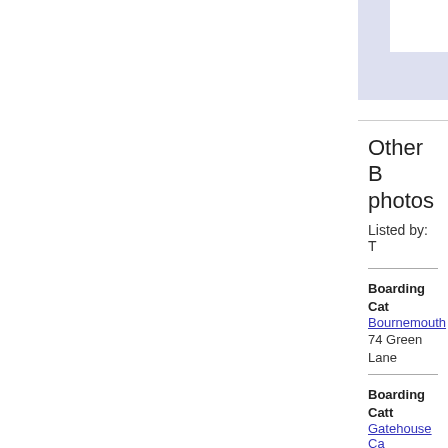Other B... photos...
Listed by: T...
Boarding Cat... Bournemouth, 74 Green Lane...
Boarding Cat... Gatehouse Ca..., The Gatehous...
Boarding Cat... Petpals Boardi..., 76 Crusader R...
Boarding Cat... Westfield, Throop Rd, Bo...